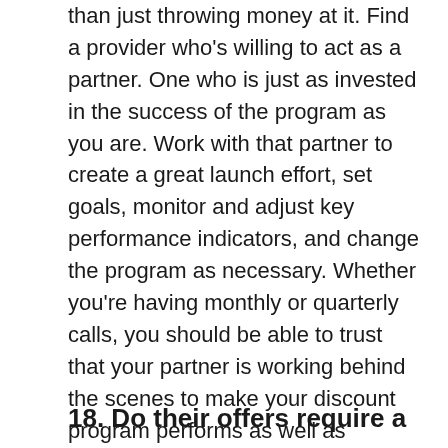than just throwing money at it. Find a provider who's willing to act as a partner. One who is just as invested in the success of the program as you are. Work with that partner to create a great launch effort, set goals, monitor and adjust key performance indicators, and change the program as necessary. Whether you're having monthly or quarterly calls, you should be able to trust that your partner is working behind the scenes to make your discount program performs as well as possible.
18. Do their offers require a